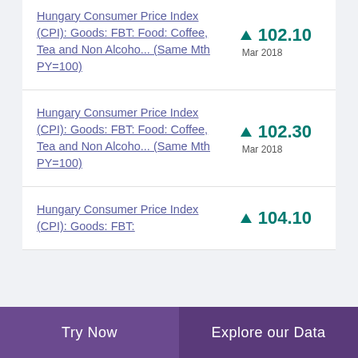Hungary Consumer Price Index (CPI): Goods: FBT: Food: Coffee, Tea and Non Alcoho... (Same Mth PY=100) ▲ 102.10 Mar 2018
Hungary Consumer Price Index (CPI): Goods: FBT: Food: Coffee, Tea and Non Alcoho... (Same Mth PY=100) ▲ 102.30 Mar 2018
Hungary Consumer Price Index (CPI): Goods: FBT: ▲ 104.10
Try Now | Explore our Data